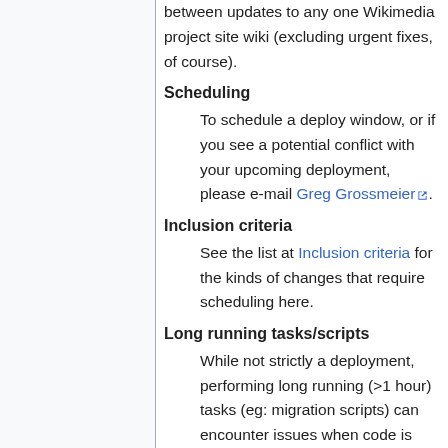between updates to any one Wikimedia project site wiki (excluding urgent fixes, of course).
Scheduling
To schedule a deploy window, or if you see a potential conflict with your upcoming deployment, please e-mail Greg Grossmeier.
Inclusion criteria
See the list at Inclusion criteria for the kinds of changes that require scheduling here.
Long running tasks/scripts
While not strictly a deployment, performing long running (>1 hour) tasks (eg: migration scripts) can encounter issues when code is updated while a script is being run. For this reason it is required to add an entry in the calendar for the task